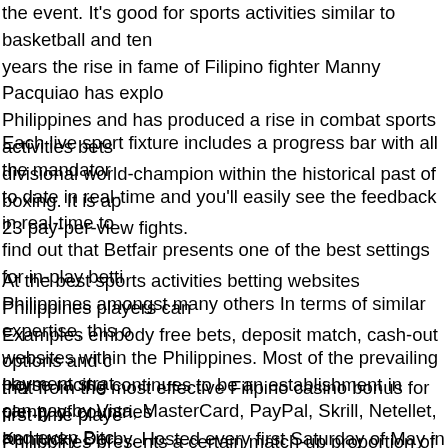the event. It's good for sports activities similar to basketball and ten... years the rise in fame of Filipino fighter Manny Pacquiao has explo... Philippines and has produced a rise in combat sports activities bets... divisional world-champion within the historical past of boxing. It is a... 23 pay-per-view fights.
Each live sport fixture includes a progress bar with all the mandatory... to date in real-time and you'll easily see the feedback in real-time to... find out that Betfair presents one of the best settings for in-play betti... Philippines amongst many others In terms of similar expertise, this c... websites within the Philippines. Most of the prevailing payment strat... can pay by Visa, MasterCard, PayPal, Skrill, Netellet, and even Bitc...
At the best sports activities betting websites Philippines players can... Examples embody free bets, deposit match, cash-out options and c... that from the most effective Filipino casino bonus for first-time playe... Philippines presents a certain match-up proportion of the first depos...
Horse racing continues to be an establishment in plenty of countries... Kentucky Derby. Hosted every first Saturday of May in Louisville, Ke... racing competition and a cultural spectacle. The race can be refor...